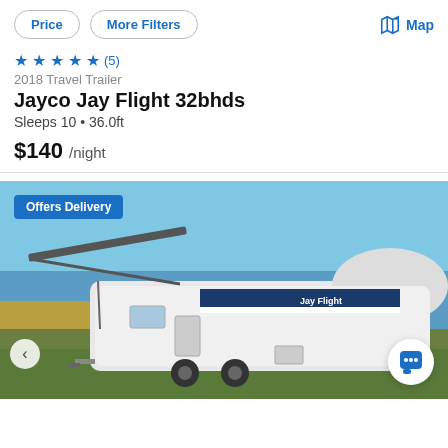Price | More Filters | Map
★★★★★ (5)
2018 Travel Trailer
Jayco Jay Flight 32bhds
Sleeps 10 • 36.0ft
$140 /night
[Figure (photo): Photo of a 2018 Jayco Jay Flight 32bhds travel trailer parked outdoors with an awning extended, blue sky background and cornfield visible. Badge reads 'Offers Delivery'. Navigation arrow on left side. Chat button on lower right.]